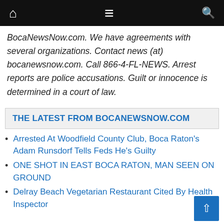Navigation bar with home, menu, and search icons
BocaNewsNow.com. We have agreements with several organizations. Contact news (at) bocanewsnow.com. Call 866-4-FL-NEWS. Arrest reports are police accusations. Guilt or innocence is determined in a court of law.
THE LATEST FROM BOCANEWSNOW.COM
Arrested At Woodfield County Club, Boca Raton's Adam Runsdorf Tells Feds He's Guilty
ONE SHOT IN EAST BOCA RATON, MAN SEEN ON GROUND
Delray Beach Vegetarian Restaurant Cited By Health Inspector